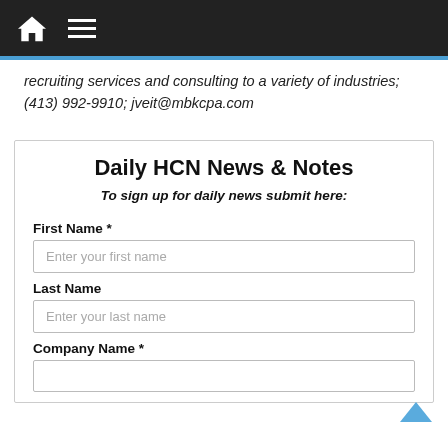Navigation bar with home icon and hamburger menu
recruiting services and consulting to a variety of industries; (413) 992-9910; jveit@mbkcpa.com
Daily HCN News & Notes
To sign up for daily news submit here:
First Name *
Enter your first name
Last Name
Enter your last name
Company Name *